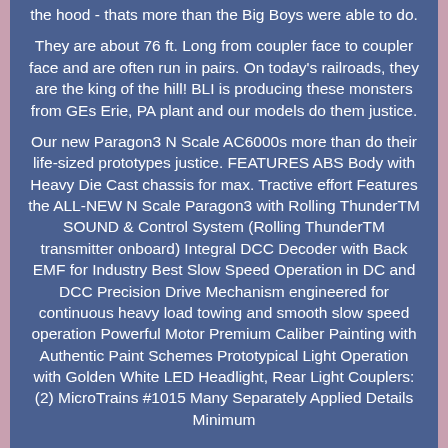the hood - thats more than the Big Boys were able to do.
They are about 76 ft. Long from coupler face to coupler face and are often run in pairs. On today's railroads, they are the king of the hill! BLI is producing these monsters from GEs Erie, PA plant and our models do them justice.
Our new Paragon3 N Scale AC6000s more than do their life-sized prototypes justice. FEATURES ABS Body with Heavy Die Cast chassis for max. Tractive effort Features the ALL-NEW N Scale Paragon3 with Rolling ThunderTM SOUND & Control System (Rolling ThunderTM transmitter onboard) Integral DCC Decoder with Back EMF for Industry Best Slow Speed Operation in DC and DCC Precision Drive Mechanism engineered for continuous heavy load towing and smooth slow speed operation Powerful Motor Premium Caliber Painting with Authentic Paint Schemes Prototypical Light Operation with Golden White LED Headlight, Rear Light Couplers: (2) MicroTrains #1015 Many Separately Applied Details Minimum